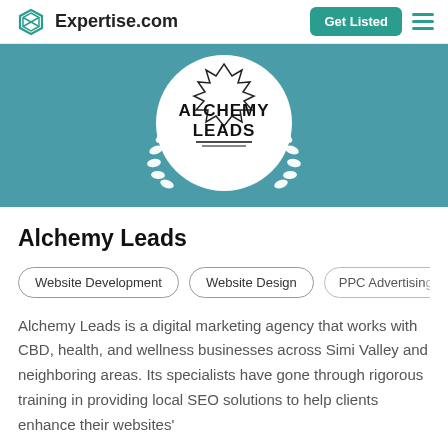Expertise.com | Get Listed
[Figure (logo): Alchemy Leads logo: circular badge with laurel wreath and text 'ALCHEMY LEADS' on teal background]
Alchemy Leads
Website Development
Website Design
PPC Advertising
Alchemy Leads is a digital marketing agency that works with CBD, health, and wellness businesses across Simi Valley and neighboring areas. Its specialists have gone through rigorous training in providing local SEO solutions to help clients enhance their websites' visibility and increase revenue. Their SEO services include